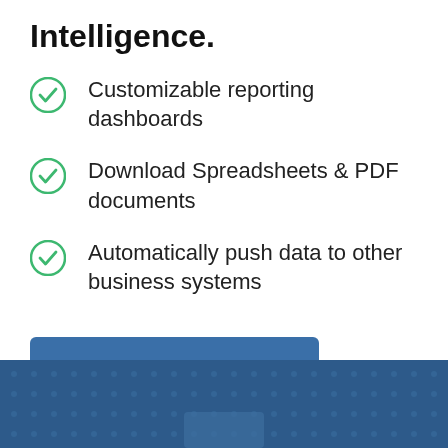Intelligence.
Customizable reporting dashboards
Download Spreadsheets & PDF documents
Automatically push data to other business systems
Book a Free Demo